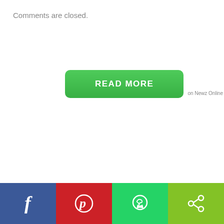Comments are closed.
[Figure (other): Green READ MORE button with 'on Newz Online' text beside it]
[Figure (other): Social sharing bar with Facebook (blue), Pinterest (red), WhatsApp (green), and Share (lime green) buttons at bottom of page]